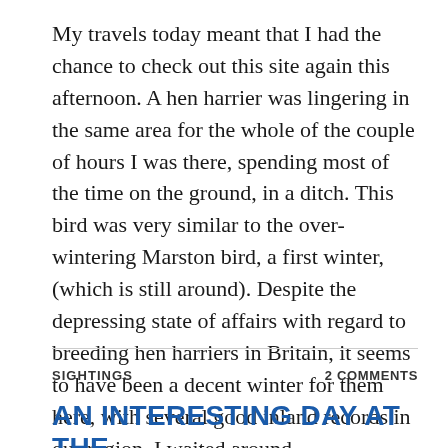My travels today meant that I had the chance to check out this site again this afternoon. A hen harrier was lingering in the same area for the whole of the couple of hours I was there, spending most of the time on the ground, in a ditch. This bird was very similar to the over-wintering Marston bird, a first winter, (which is still around). Despite the depressing state of affairs with regard to breeding hen harriers in Britain, it seems to have been a decent winter for them here, with several good inland records in our region. I waited around, ... Continue reading
SIGHTINGS
2 COMMENTS
AN INTERESTING DAY AT THE